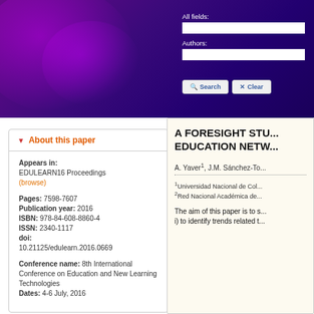Screenshot of EDULEARN16 paper detail page with search interface
About this paper
Appears in: EDULEARN16 Proceedings (browse)
Pages: 7598-7607
Publication year: 2016
ISBN: 978-84-608-8860-4
ISSN: 2340-1117
doi: 10.21125/edulearn.2016.0669
Conference name: 8th International Conference on Education and New Learning Technologies
Dates: 4-6 July, 2016
A FORESIGHT STU... EDUCATION NETW...
A. Yaver¹, J.M. Sánchez-To...
¹Universidad Nacional de Col...
²Red Nacional Académica de...
The aim of this paper is to s...
i) to identify trends related t...